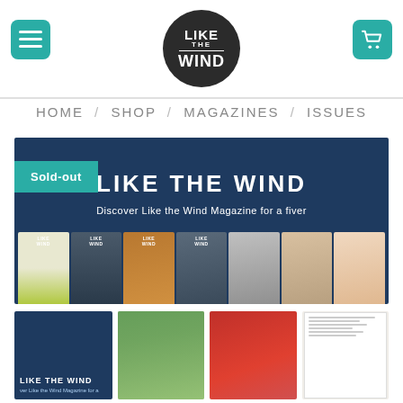[Figure (screenshot): Website header with hamburger menu button (teal), Like the Wind circular logo (dark background, white text), and shopping cart button (teal)]
HOME / SHOP / MAGAZINES / ISSUES
[Figure (photo): Dark navy blue banner with 'Sold-out' teal tag, 'LIKE THE WIND' large white bold title, subtitle 'Discover Like the Wind Magazine for a fiver', and a row of magazine covers at the bottom]
[Figure (photo): Four product thumbnail images: dark blue 'LIKE THE WIND' banner, group of runners photo, red track photo, and open magazine pages photo]